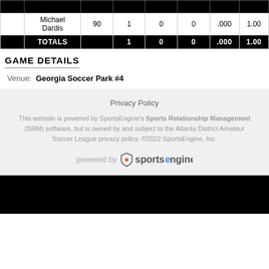|  | Name |  | 1 | 0 | 0 | .000 | 1.00 |
| --- | --- | --- | --- | --- | --- | --- | --- |
|  | Michael Dardis | 90 | 1 | 0 | 0 | .000 | 1.00 |
|  | TOTALS |  | 1 | 0 | 0 | .000 | 1.00 |
GAME DETAILS
Venue: Georgia Soccer Park #4
Privacy Policy
This website is powered by SportsEngine's Sports Relationship Management (SRM) software, but is owned by and subject to the Atlanta District Amateur Soccer League privacy policy. ©2022 SportsEngine, Inc.
[Figure (logo): powered by sportsengine logo]